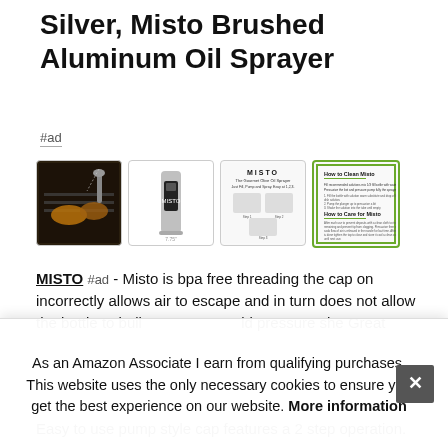Silver, Misto Brushed Aluminum Oil Sprayer
#ad
[Figure (photo): Four product thumbnail images: 1) Food being sprayed on grill (dark background), 2) Misto brushed aluminum sprayer product shot on white, 3) MISTO instructions sheet showing Fill, Pump and Spray steps, 4) How to Clean Misto and How to Care for Misto instruction card with green border]
MISTO #ad - Misto is bpa free threading the cap on incorrectly allows air to escape and in turn does not allow the bottle to buil... she... Grea...
Easy to use pump style cap features a 2 step operation.
As an Amazon Associate I earn from qualifying purchases. This website uses the only necessary cookies to ensure you get the best experience on our website. More information